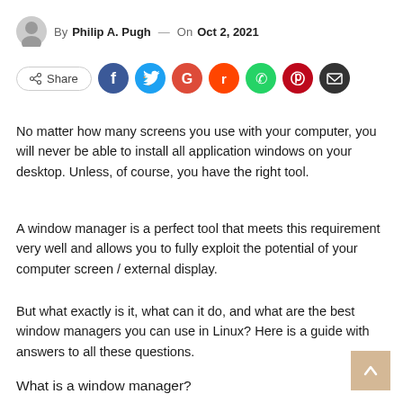By Philip A. Pugh — On Oct 2, 2021
[Figure (infographic): Social share bar with Share button, Facebook, Twitter, Google+, Reddit, WhatsApp, Pinterest, and email icons]
No matter how many screens you use with your computer, you will never be able to install all application windows on your desktop. Unless, of course, you have the right tool.
A window manager is a perfect tool that meets this requirement very well and allows you to fully exploit the potential of your computer screen / external display.
But what exactly is it, what can it do, and what are the best window managers you can use in Linux? Here is a guide with answers to all these questions.
What is a window manager?